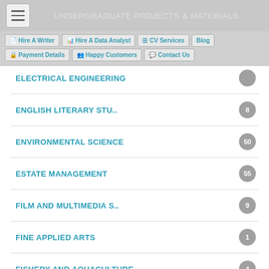UNDERGRADUATE PROJECTS & MATERIALS
Hire A Writer
Hire A Data Analyst
CV Services
Blog
Payment Details
Happy Customers
Contact Us
ENGLISH LITERARY STU.. 8
ENVIRONMENTAL SCIENCE 50
ESTATE MANAGEMENT 55
FILM AND MULTIMEDIA S.. 9
FINE APPLIED ARTS 1
FISHERY AND AQUACULTURE 4
FOOD AND NUTRITION 1
FOOD SCIENCE & TE.. 14